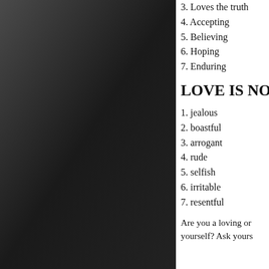3. Loves the truth
4. Accepting
5. Believing
6. Hoping
7. Enduring
LOVE IS NO
1. jealous
2. boastful
3. arrogant
4. rude
5. selfish
6. irritable
7. resentful
Are you a loving or yourself? Ask yours